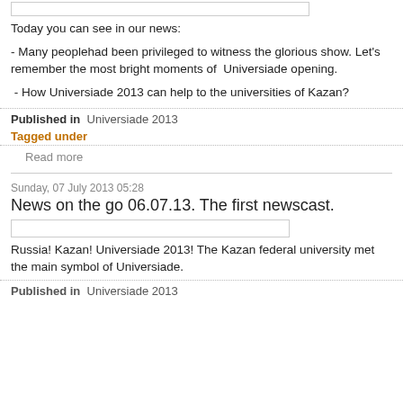[Figure (other): Image placeholder box (empty/white rectangle with border)]
Today you can see in our news:
- Many peoplehad been privileged to witness the glorious show. Let's remember the most bright moments of  Universiade opening.
- How Universiade 2013 can help to the universities of Kazan?
Published in   Universiade 2013
Tagged under
Read more
Sunday, 07 July 2013 05:28
News on the go 06.07.13. The first newscast.
[Figure (other): Image placeholder box (empty/white rectangle with border)]
Russia! Kazan! Universiade 2013! The Kazan federal university met the main symbol of Universiade.
Published in   Universiade 2013